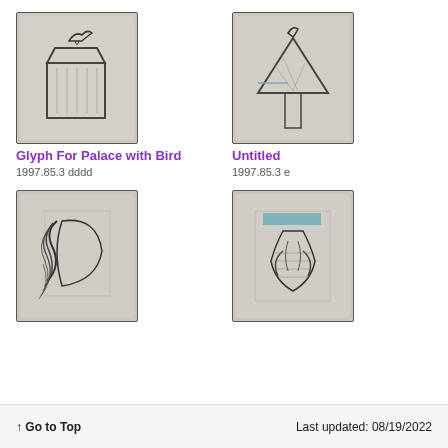[Figure (illustration): Pencil/charcoal sketch of a bucket or container shape with a bird figure above it, on gray-toned paper with rough edges]
Glyph For Palace with Bird
1997.85.3 dddd
[Figure (illustration): Pencil/charcoal sketch of an abstract triangular/tent-like shape with a bird or figure, colored pencil accents on gray paper with rough edges]
Untitled
1997.85.3 e
[Figure (illustration): Pencil/charcoal sketch with dramatic curved and sweeping lines suggesting a letter D or figure, on gray-toned paper with rough edges]
[Figure (illustration): Pencil/charcoal sketch of an abstract plant or vase-like shape with blue accent at top, on gray-toned paper with rough edges]
↑ Go to Top    Last updated: 08/19/2022